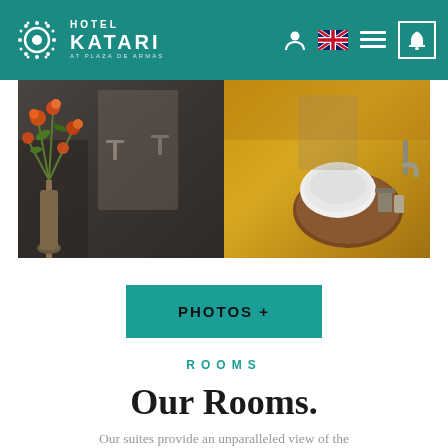HOTEL KATARI AT PLAZA DE ARMAS
[Figure (photo): Hotel bathroom with two sides: left shows dark concrete walls with orange flower arrangement; right shows yellow wall with white vessel sink on round wooden shelf]
PHOTOS +
ROOMS
Our Rooms.
Our suites provide an unparalleled view of the